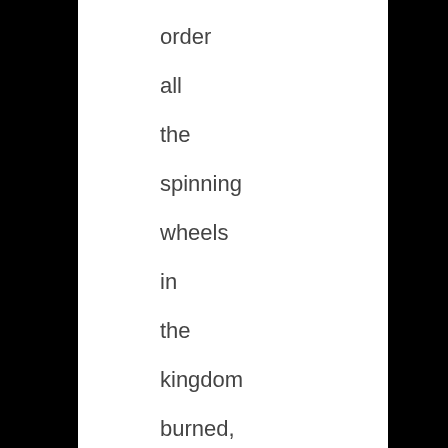order all the spinning wheels in the kingdom burned, believing that he could control the situation – even one so obviously out